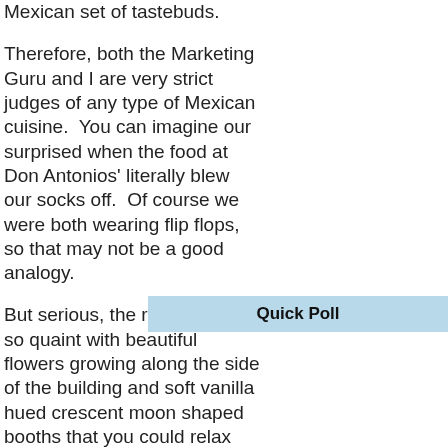Mexican set of tastebuds.
Therefore, both the Marketing Guru and I are very strict judges of any type of Mexican cuisine.  You can imagine our surprised when the food at Don Antonios' literally blew our socks off.  Of course we were both wearing flip flops, so that may not be a good analogy.
But serious, the restaurant is so quaint with beautiful flowers growing along the side of the building and soft vanilla hued crescent moon shaped booths that you could relax into.  The service was
Quick Poll